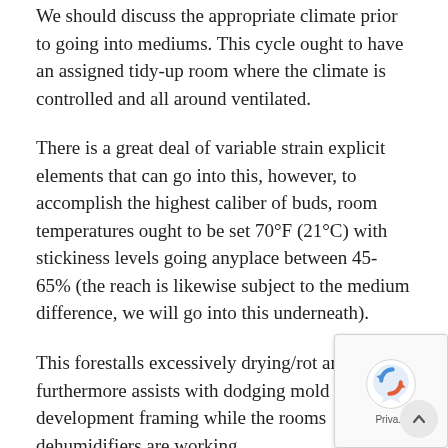We should discuss the appropriate climate prior to going into mediums. This cycle ought to have an assigned tidy-up room where the climate is controlled and all around ventilated.
There is a great deal of variable strain explicit elements that can go into this, however, to accomplish the highest caliber of buds, room temperatures ought to be set 70°F (21°C) with stickiness levels going anyplace between 45-65% (the reach is likewise subject to the medium difference, we will go into this underneath).
This forestalls excessively drying/rot and furthermore assists with dodging mold development framing while the rooms dehumidifiers are working.
So, buds do straighten out while drying on the grounds that water is vanishing from the reaped weed.